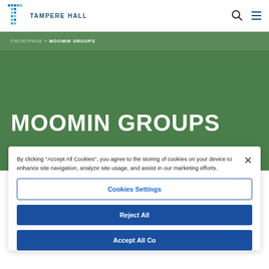TAMPERE HALL
FRONTPAGE » MOOMIN GROUPS
MOOMIN GROUPS
The Moomin Museum is an experiential art
By clicking "Accept All Cookies", you agree to the storing of cookies on your device to enhance site navigation, analyze site usage, and assist in our marketing efforts.
Cookies Settings
Reject All
Accept All Cookies